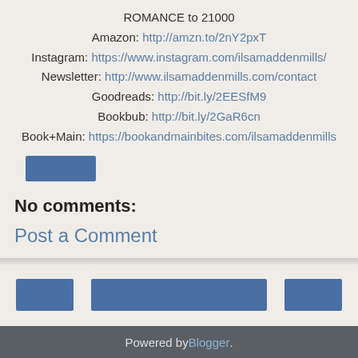ROMANCE to 21000
Amazon: http://amzn.to/2nY2pxT
Instagram: https://www.instagram.com/ilsamaddenmills/
Newsletter: http://www.ilsamaddenmills.com/contact
Goodreads: http://bit.ly/2EESfM9
Bookbub: http://bit.ly/2GaR6cn
Book+Main: https://bookandmainbites.com/ilsamaddenmills
[Figure (other): Blue button/badge element]
No comments:
Post a Comment
[Figure (other): Three blue navigation buttons at bottom of blog post]
View web version
Powered by Blogger.